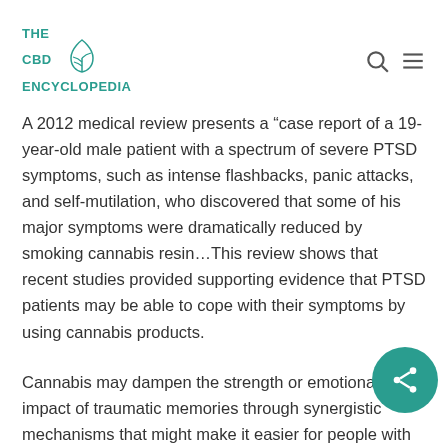THE CBD ENCYCLOPEDIA
A 2012 medical review presents a “case report of a 19-year-old male patient with a spectrum of severe PTSD symptoms, such as intense flashbacks, panic attacks, and self-mutilation, who discovered that some of his major symptoms were dramatically reduced by smoking cannabis resin…This review shows that recent studies provided supporting evidence that PTSD patients may be able to cope with their symptoms by using cannabis products.
Cannabis may dampen the strength or emotional impact of traumatic memories through synergistic mechanisms that might make it easier for people with PTSD to rest or sleep and to feel